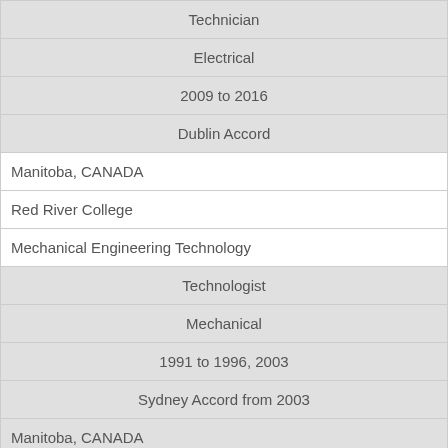| Technician |
| Electrical |
| 2009 to 2016 |
| Dublin Accord |
| Manitoba, CANADA |
| Red River College |
| Mechanical Engineering Technology |
| Technologist |
| Mechanical |
| 1991 to 1996, 2003 |
| Sydney Accord from 2003 |
| Manitoba, CANADA |